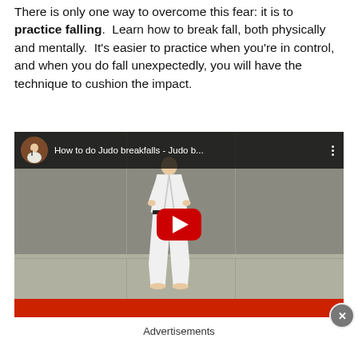There is only one way to overcome this fear: it is to practice falling.  Learn how to break fall, both physically and mentally.  It's easier to practice when you're in control, and when you do fall unexpectedly, you will have the technique to cushion the impact.
[Figure (screenshot): YouTube video thumbnail showing a judoka in white gi and black belt practicing on a mat, with the video title 'How to do Judo breakfalls - Judo b...' displayed in the header overlay and a red YouTube play button in the center.]
Advertisements